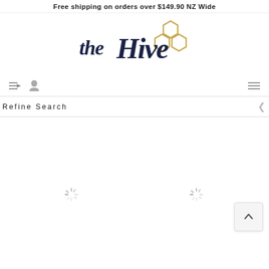Free shipping on orders over $149.90 NZ Wide
[Figure (logo): The Hive logo — script text 'the Hive' in dark navy with gold honeycomb hexagon graphic]
Refine Search
[Figure (illustration): Page loading state with two spinner icons in the product grid area and a back-to-top button]